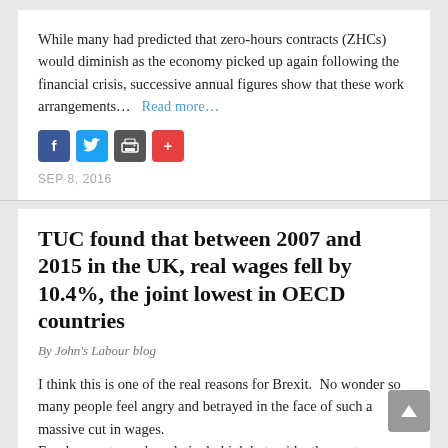While many had predicted that zero-hours contracts (ZHCs) would diminish as the economy picked up again following the financial crisis, successive annual figures show that these work arrangements…  Read more…
SEP 8, 2016
TUC found that between 2007 and 2015 in the UK, real wages fell by 10.4%, the joint lowest in OECD countries
By John's Labour blog
I think this is one of the real reasons for Brexit.  No wonder so many people feel angry and betrayed in the face of such a massive cut in wages. Employment may be relatively high but evidently most